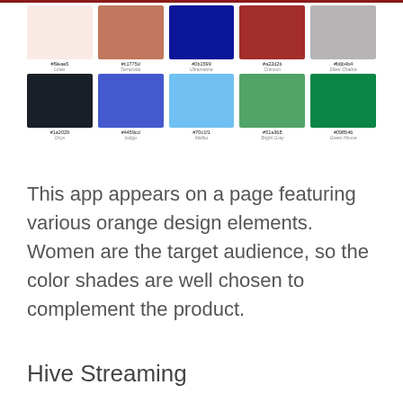[Figure (infographic): Color palette swatches in two rows of five. Row 1: #f9eae5 (Linen), #c1775d (Terracotta), #0b1599 (Ultramarine), #a22d2b (Crimson), #b6b4b4 (Silver Chalice). Row 2: #1a2029 (Onyx), #4459cd (Indigo), #70c1f1 (Malibu), #51a368 (Bright Gray), #098546 (Green House).]
This app appears on a page featuring various orange design elements. Women are the target audience, so the color shades are well chosen to complement the product.
Hive Streaming